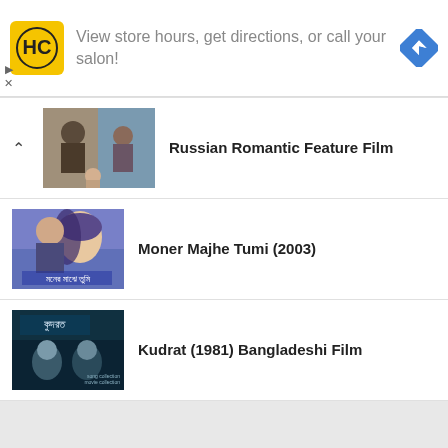[Figure (screenshot): Advertisement banner for HC salon with logo, text 'View store hours, get directions, or call your salon!' and a blue navigation icon]
Russian Romantic Feature Film
Moner Majhe Tumi (2003)
Kudrat (1981) Bangladeshi Film